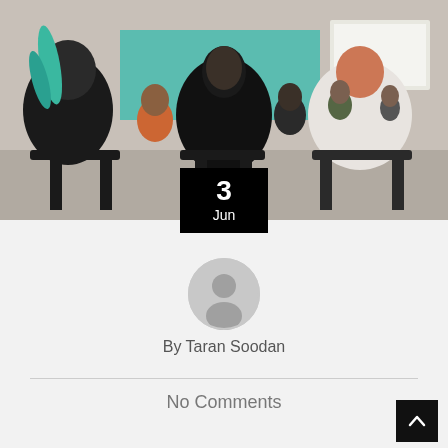[Figure (photo): Audience of students/attendees seen from behind sitting in chairs at a classroom or seminar, facing a speaker at the front near a whiteboard.]
3
Jun
[Figure (illustration): Generic grey user/avatar icon circle]
By Taran Soodan
No Comments